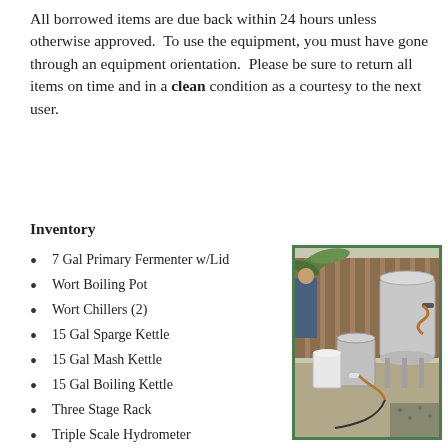All borrowed items are due back within 24 hours unless otherwise approved.  To use the equipment, you must have gone through an equipment orientation.  Please be sure to return all items on time and in a clean condition as a courtesy to the next user.
Inventory
7 Gal Primary Fermenter w/Lid
Wort Boiling Pot
Wort Chillers (2)
15 Gal Sparge Kettle
15 Gal Mash Kettle
15 Gal Boiling Kettle
Three Stage Rack
Triple Scale Hydrometer
Floating Thermometer
Assorted Hoses
Bottle Washer
Bottle Filler
[Figure (photo): Photo of home brewing equipment including large stainless steel kettles, a primary fermenter, and other brewing accessories arranged outdoors on a patio.]